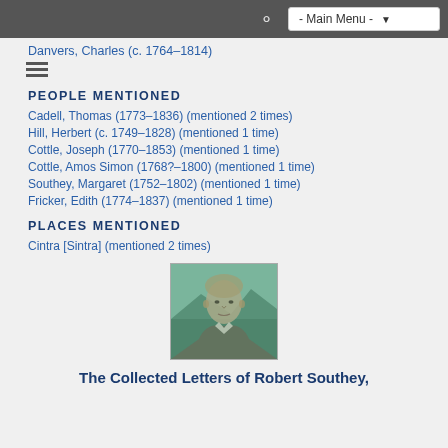- Main Menu -
Danvers, Charles (c. 1764–1814)
PEOPLE MENTIONED
Cadell, Thomas (1773–1836) (mentioned 2 times)
Hill, Herbert (c. 1749–1828) (mentioned 1 time)
Cottle, Joseph (1770–1853) (mentioned 1 time)
Cottle, Amos Simon (1768?–1800) (mentioned 1 time)
Southey, Margaret (1752–1802) (mentioned 1 time)
Fricker, Edith (1774–1837) (mentioned 1 time)
PLACES MENTIONED
Cintra [Sintra] (mentioned 2 times)
[Figure (illustration): Portrait illustration of Robert Southey, a man with light hair in early 19th century attire, rendered in green-teal tones]
The Collected Letters of Robert Southey,